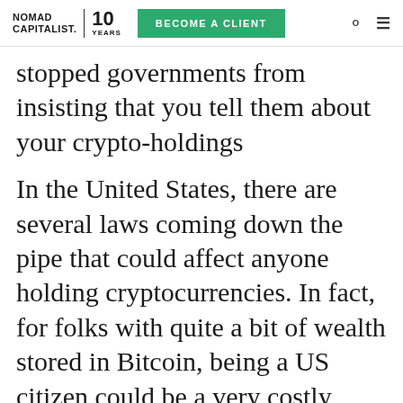NOMAD CAPITALIST. 10 YEARS | BECOME A CLIENT
stopped governments from insisting that you tell them about your crypto-holdings
In the United States, there are several laws coming down the pipe that could affect anyone holding cryptocurrencies. In fact, for folks with quite a bit of wealth stored in Bitcoin, being a US citizen could be a very costly situation.
In the...